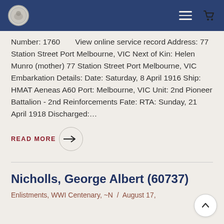Navigation header with logo, hamburger menu, and cart icon
Number: 1760   View online service record Address: 77 Station Street Port Melbourne, VIC Next of Kin: Helen Munro (mother) 77 Station Street Port Melbourne, VIC Embarkation Details: Date: Saturday, 8 April 1916 Ship: HMAT Aeneas A60 Port: Melbourne, VIC Unit: 2nd Pioneer Battalion - 2nd Reinforcements Fate: RTA: Sunday, 21 April 1918 Discharged:…
READ MORE →
Nicholls, George Albert (60737)
Enlistments, WWI Centenary, ~N  /  August 17,